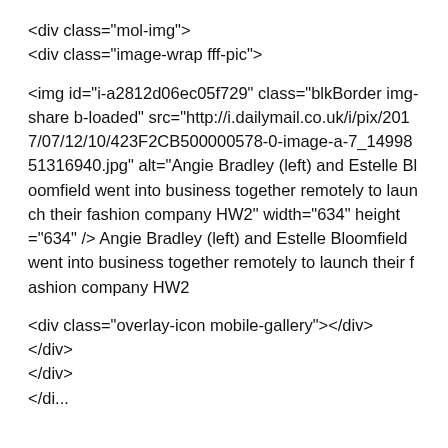<div class="mol-img">
<div class="image-wrap fff-pic">
<img id="i-a2812d06ec05f729" class="blkBorder img-share b-loaded" src="http://i.dailymail.co.uk/i/pix/2017/07/12/10/423F2CB500000578-0-image-a-7_1499851316940.jpg" alt="Angie Bradley (left) and Estelle Bloomfield went into business together remotely to launch their fashion company HW2" width="634" height="634" /> Angie Bradley (left) and Estelle Bloomfield went into business together remotely to launch their fashion company HW2
<div class="overlay-icon mobile-gallery"></div>
</div>
</div>
</di...